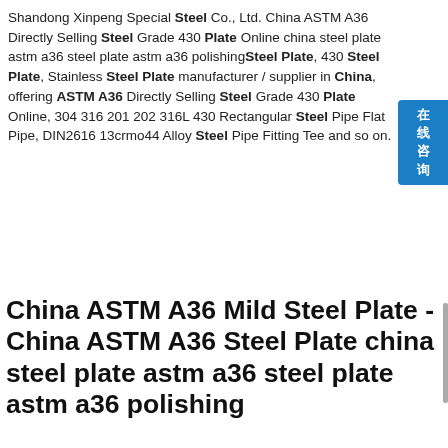Shandong Xinpeng Special Steel Co., Ltd. China ASTM A36 Directly Selling Steel Grade 430 Plate Online china steel plate astm a36 steel plate astm a36 polishingSteel Plate, 430 Steel Plate, Stainless Steel Plate manufacturer / supplier in China, offering ASTM A36 Directly Selling Steel Grade 430 Plate Online, 304 316 201 202 316L 430 Rectangular Steel Pipe Flat Pipe, DIN2616 13crmo44 Alloy Steel Pipe Fitting Tee and so on.
China ASTM A36 Mild Steel Plate - China ASTM A36 Steel Plate china steel plate astm a36 steel plate astm a36 polishing
ASTM A36 Steel Plate, A36 Steel Plate, ASTM A36 manufacturer / supplier in China, offering ASTM A36 Mild Steel Plate, Hot Sale Nm500 and Similar Grade Alloy Steel Plate for Building View, China Selling Wear Steel Plate Spot Hb500 Nm500 Steel Sheet Factory Price and so on. China ASTM A36 Mild Steel Plates (10mm, 15mm, 20mm, 25mm china
[Figure (photo): Photo of steel coil springs or pipe fittings stacked together on a concrete floor]